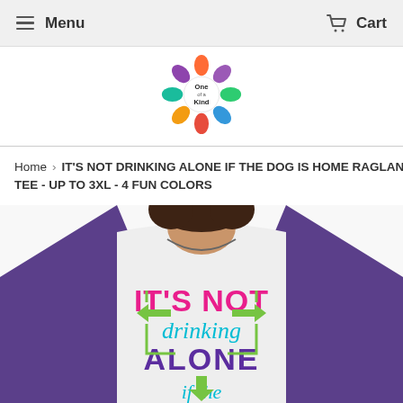Menu   Cart
[Figure (logo): One of a Kind colorful floral circular logo]
Home > IT'S NOT DRINKING ALONE IF THE DOG IS HOME RAGLAN TEE - UP TO 3XL - 4 FUN COLORS
[Figure (photo): Woman wearing a purple and white raglan tee that reads IT'S NOT drinking ALONE if the (rest cut off). Purple sleeves with white body. Text on shirt in pink, teal/cyan, and purple colors with green arrow graphics.]